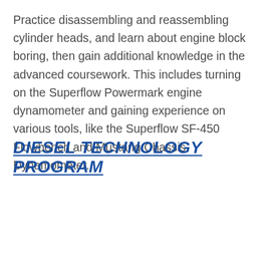Practice disassembling and reassembling cylinder heads, and learn about engine block boring, then gain additional knowledge in the advanced coursework. This includes turning on the Superflow Powermark engine dynamometer and gaining experience on various tools, like the Superflow SF-450 Flowbench and Mustang Chassis Dynamometer.
DIESEL TECHNOLOGY PROGRAM